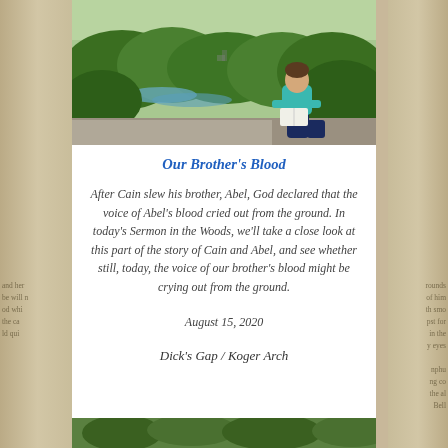[Figure (photo): Person in teal shirt and dark pants sitting on a rocky cliff overlook, reading a book, with a forested river valley visible below]
Our Brother's Blood
After Cain slew his brother, Abel, God declared that the voice of Abel's blood cried out from the ground. In today's Sermon in the Woods, we'll take a close look at this part of the story of Cain and Abel, and see whether still, today, the voice of our brother's blood might be crying out from the ground.
August 15, 2020
Dick's Gap / Koger Arch
[Figure (photo): Bottom strip of a forest/nature scene partially visible]